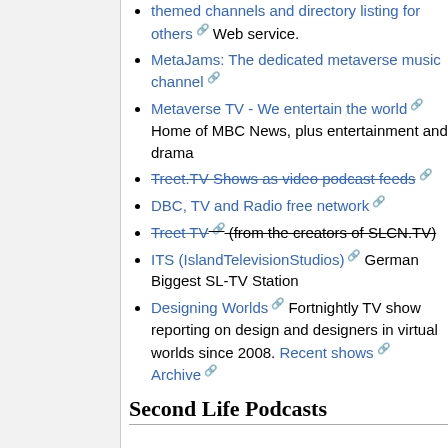themed channels and directory listing for others Web service.
MetaJams: The dedicated metaverse music channel
Metaverse TV - We entertain the world Home of MBC News, plus entertainment and drama
Treet.TV Shows as video podcast feeds (strikethrough)
DBC, TV and Radio free network
Treet TV (from the creators of SLCN.TV) (strikethrough)
ITS (IslandTelevisionStudios) German Biggest SL-TV Station
Designing Worlds Fortnightly TV show reporting on design and designers in virtual worlds since 2008. Recent shows Archive
Second Life Podcasts